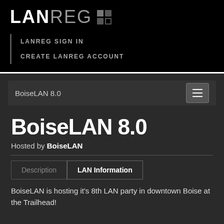[Figure (logo): LANREG logo with grid icon in top-left black header]
LANREG SIGN IN
CREATE LANREG ACCOUNT
BoiseLAN 8.0
BoiseLAN 8.0
Hosted by BoiseLAN
Description    LAN Information
BoiseLAN is hosting it's 8th LAN party in downtown Boise at the Trailhead!